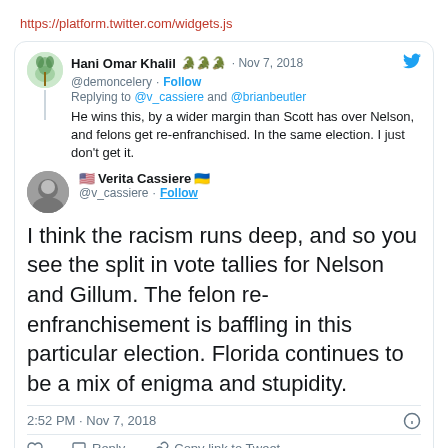https://platform.twitter.com/widgets.js
[Figure (screenshot): Embedded tweet card showing a reply from Hani Omar Khalil (@demoncelery) dated Nov 7, 2018, replying to @v_cassiere and @brianbeutler: 'He wins this, by a wider margin than Scott has over Nelson, and felons get re-enfranchised. In the same election. I just don't get it.' Below is the main tweet from Verita Cassiere (@v_cassiere): 'I think the racism runs deep, and so you see the split in vote tallies for Nelson and Gillum. The felon re-enfranchisement is baffling in this particular election. Florida continues to be a mix of enigma and stupidity.' Timestamp: 2:52 PM · Nov 7, 2018. Actions: Like, Reply, Copy link to Tweet. Read 1 reply.]